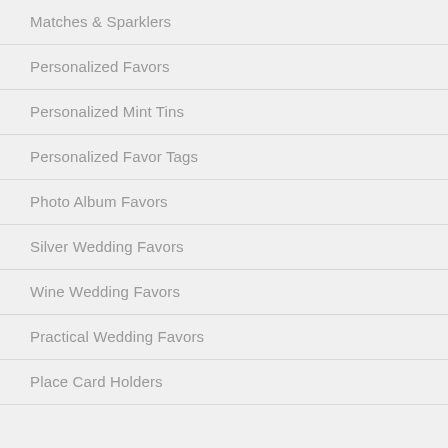Matches & Sparklers
Personalized Favors
Personalized Mint Tins
Personalized Favor Tags
Photo Album Favors
Silver Wedding Favors
Wine Wedding Favors
Practical Wedding Favors
Place Card Holders